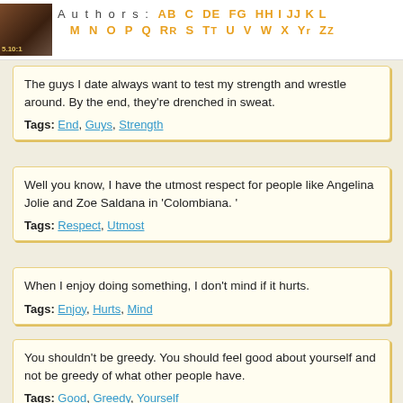Authors: A B C D E F G H I J K L M N O P Q R S T U V W X Y Z
The guys I date always want to test my strength and wrestle around. By the end, they're drenched in sweat.
Tags: End, Guys, Strength
Well you know, I have the utmost respect for people like Angelina Jolie and Zoe Saldana in 'Colombiana. '
Tags: Respect, Utmost
When I enjoy doing something, I don't mind if it hurts.
Tags: Enjoy, Hurts, Mind
You shouldn't be greedy. You should feel good about yourself and not be greedy of what other people have.
Tags: Good, Greedy, Yourself